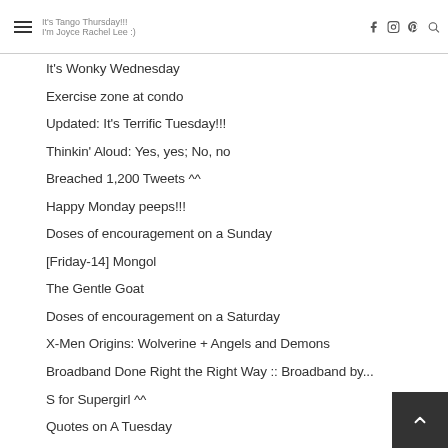It's Tango Thursday!!! I'm Joyce Rachel Lee :)
It's Wonky Wednesday
Exercise zone at condo
Updated: It's Terrific Tuesday!!!
Thinkin' Aloud: Yes, yes; No, no
Breached 1,200 Tweets ^^
Happy Monday peeps!!!
Doses of encouragement on a Sunday
[Friday-14] Mongol
The Gentle Goat
Doses of encouragement on a Saturday
X-Men Origins: Wolverine + Angels and Demons
Broadband Done Right the Right Way :: Broadband by...
S for Supergirl ^^
Quotes on A Tuesday
Are you an Otaku (　／　)?
TRUSTING in GOD
THE Big Bad Book SALE!!